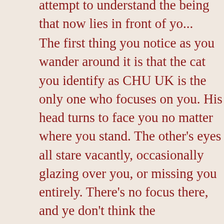attempt to understand the being that now lies in front of yo...
The first thing you notice as you wander around it is that the cat you identify as CHU UK is the only one who focuses on you. His head turns to face you no matter where you stand. The other's eyes all stare vacantly, occasionally glazing over you, or missing you entirely. There's no focus there, and you don't think the abomination can see out of them. It's obvious to you that this stitching was done with a WOODEN NEEDLE, and the thought that anyone with one could do this causes your entire body to shudder. From a distance you thought they were just haphazardly sewn together, but it's more gruesome than you thought.
The ladies attached to his hip had been cut open, as was he, and the seams were stitched together. You now understand what your [ANCESTOR] was talking about. If you could separate them up, they would be dead, even if their cores still function. You can't tell anything further without cutting open the abomination.
The ladies haven't stopped whispering, so you listen in again, attempting to decipher what they say. Some names come up, and you think they even occasionally mention each-others names. You hear a MARCIE and a RA MONA in there, so...